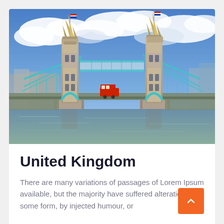[Figure (photo): Photograph of Tower Bridge in London, England, with blue suspension cables, two Gothic towers, the River Thames in the foreground, blue sky with clouds, and a red double-decker bus visible on the bridge roadway.]
United Kingdom
There are many variations of passages of Lorem Ipsum available, but the majority have suffered alteration in some form, by injected humour, or